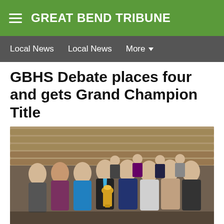GREAT BEND TRIBUNE
Local News    Local News    More
GBHS Debate places four and gets Grand Champion Title
[Figure (photo): Group photo of GBHS debate team members posing in an auditorium, one student holding a trophy. Students dressed formally in suits and dresses.]
Back row: Maddi Bonham, Kimberley Gonzalez, Sarah Keller, Mallorie McNett, Marissa Hoisington, Morgan Francis and Kameko Schultz. Front row: Coach Barbara Watson, Elizabeth Becker, Lesley Galvan,